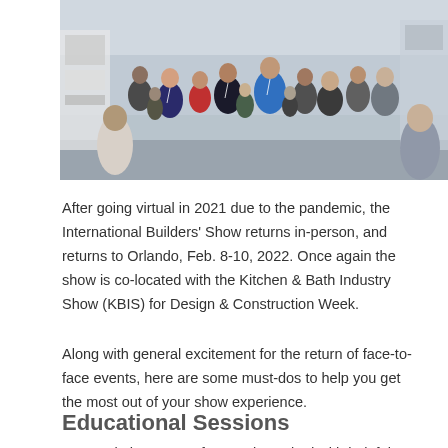[Figure (photo): Crowded trade show floor with many attendees walking around exhibition booths.]
After going virtual in 2021 due to the pandemic, the International Builders' Show returns in-person, and returns to Orlando, Feb. 8-10, 2022. Once again the show is co-located with the Kitchen & Bath Industry Show (KBIS) for Design & Construction Week.
Along with general excitement for the return of face-to-face events, here are some must-dos to help you get the most out of your show experience.
Educational Sessions
As usual, the IBS conference is packed with helpful